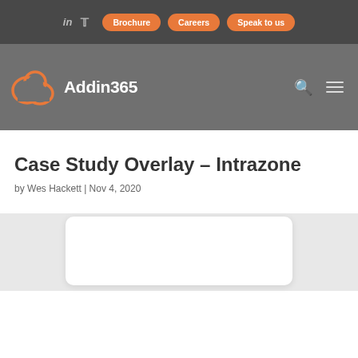in  [twitter]  Brochure  Careers  Speak to us
[Figure (logo): Addin365 logo with cloud icon in orange on grey background, with search and menu icons on right]
Case Study Overlay – Intrazone
by Wes Hackett | Nov 4, 2020
[Figure (other): White rounded card/image area partially visible at bottom of page]